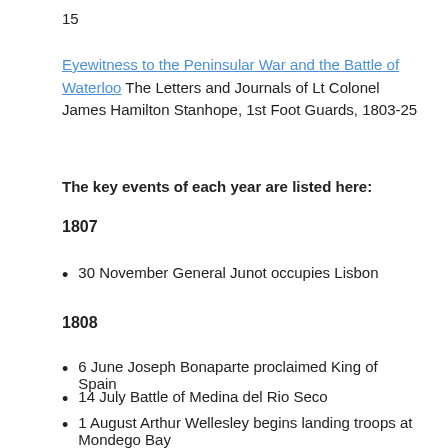15
Eyewitness to the Peninsular War and the Battle of Waterloo The Letters and Journals of Lt Colonel James Hamilton Stanhope, 1st Foot Guards, 1803-25
The key events of each year are listed here:
1807
30 November General Junot occupies Lisbon
1808
6 June Joseph Bonaparte proclaimed King of Spain
14 July Battle of Medina del Rio Seco
1 August Arthur Wellesley begins landing troops at Mondego Bay